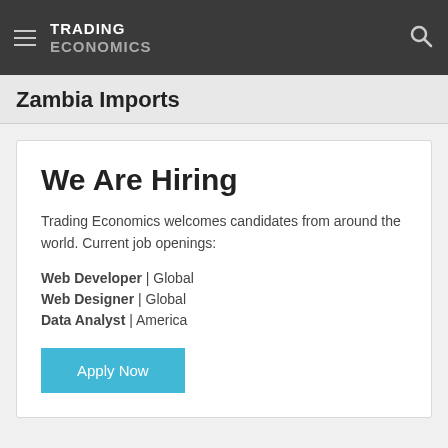TRADING ECONOMICS
Zambia Imports
We Are Hiring
Trading Economics welcomes candidates from around the world. Current job openings:
Web Developer | Global
Web Designer | Global
Data Analyst | America
Apply Now